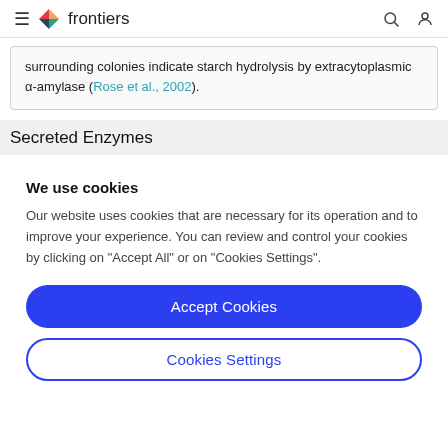frontiers
surrounding colonies indicate starch hydrolysis by extracytoplasmic α-amylase (Rose et al., 2002).
Secreted Enzymes
We use cookies
Our website uses cookies that are necessary for its operation and to improve your experience. You can review and control your cookies by clicking on "Accept All" or on "Cookies Settings".
Accept Cookies
Cookies Settings